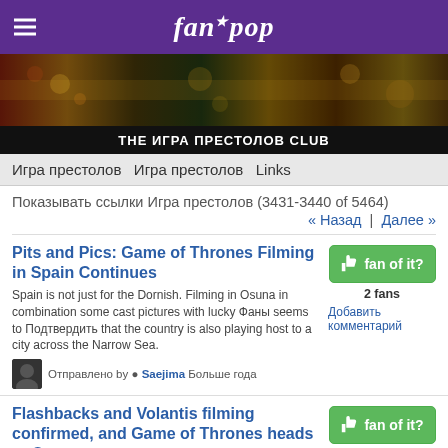fanpop
[Figure (photo): Game of Thrones themed banner with dark fantasy imagery]
THE ИГРА ПРЕСТОЛОВ CLUB
Игра престолов  Игра престолов  Links
Показывать ссылки Игра престолов (3431-3440 of 5464)
« Назад  |  Далее »
Pits and Pics: Game of Thrones Filming in Spain Continues
Spain is not just for the Dornish. Filming in Osuna in combination some cast pictures with lucky Фаны seems to Подтвердить that the country is also playing host to a city across the Narrow Sea.
Отправлено by ● Saejima Больше года
fan of it?
2 fans
Добавить комментарий
Flashbacks and Volantis filming confirmed, and Game of Thrones heads to Osuna
Game of Thrones news is pouring out of Spain these days, with cameras rolling at the Alcázar of Seville and sightings
fan of it?
2 fans
Добавить комментарий